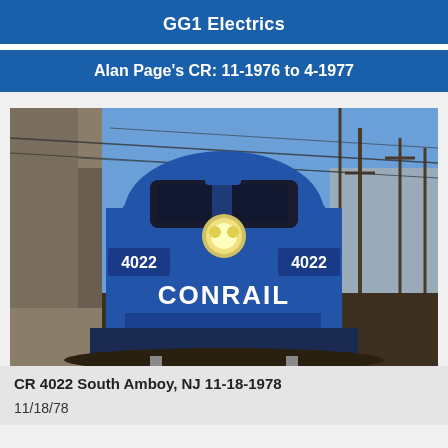GG1 Electrics
Alan Page's CR: 11-1976 to 4-1977
[Figure (photo): Front view of Conrail GG1 electric locomotive number 4022 in blue livery with 'CONRAIL' lettering, photographed at South Amboy, NJ on November 18, 1978. The locomotive is facing the camera with its headlight on, surrounded by industrial infrastructure and utility poles.]
CR 4022 South Amboy, NJ 11-18-1978
11/18/78